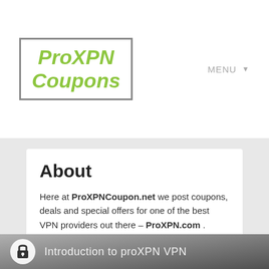[Figure (logo): ProXPN Coupons logo — italic bold green text inside a gray-bordered rectangle]
MENU ▸
About
Here at ProXPNCoupon.net we post coupons, deals and special offers for one of the best VPN providers out there – ProXPN.com .
[Figure (screenshot): Introduction to proXPN VPN video thumbnail — dark gradient background with a padlock icon and a figure silhouette]